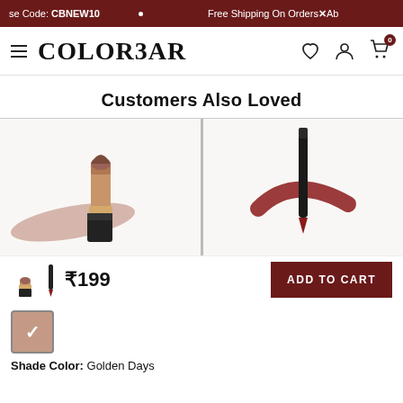se Code: CBNEW10 · Free Shipping On Orders Ab
COLORBAR
Customers Also Loved
[Figure (photo): Two product images side by side: left shows a matte lipstick in rose-brown shade with gold case and smear; right shows a lip liner/liquid lip pencil in dark red with cap off and swipe.]
₹199
ADD TO CART
Shade Color: Golden Days